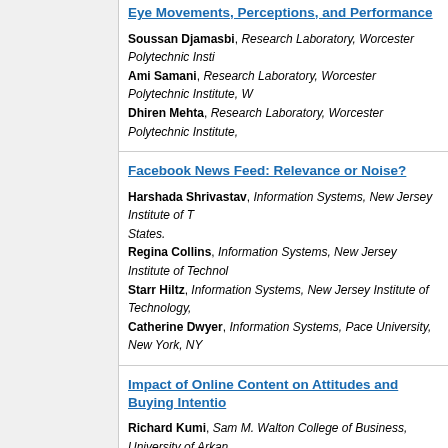Eye Movements, Perceptions, and Performance
Soussan Djamasbi, Research Laboratory, Worcester Polytechnic Insti...
Ami Samani, Research Laboratory, Worcester Polytechnic Institute, W...
Dhiren Mehta, Research Laboratory, Worcester Polytechnic Institute,...
Facebook News Feed: Relevance or Noise?
Harshada Shrivastav, Information Systems, New Jersey Institute of T... States.
Regina Collins, Information Systems, New Jersey Institute of Technol...
Starr Hiltz, Information Systems, New Jersey Institute of Technology,...
Catherine Dwyer, Information Systems, Pace University, New York, NY...
Impact of Online Content on Attitudes and Buying Intentio...
Richard Kumi, Sam M. Walton College of Business, University of Arkan...
Moez Limayem, Sam M. Walton College of Business, University of Arka...
Individual Relationships with Technology
Kit Scott, Information Technology and Supply Chain Management, Boi... States.
Landscape preference model in HCI: Emotion and Interacti...
Kiljae Lee, Information Systems, University of Kansas, Lawrence, KS, L...
Jungsil Choi, Marketing, University of Kansas, Lawrence, KS, United St...
George Marakas, Information Systems, University of Kansas, Lawrence...